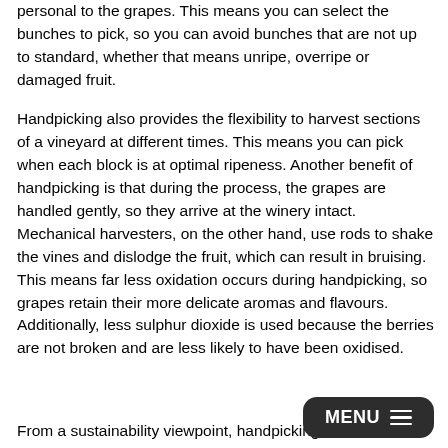personal to the grapes. This means you can select the bunches to pick, so you can avoid bunches that are not up to standard, whether that means unripe, overripe or damaged fruit.
Handpicking also provides the flexibility to harvest sections of a vineyard at different times. This means you can pick when each block is at optimal ripeness. Another benefit of handpicking is that during the process, the grapes are handled gently, so they arrive at the winery intact. Mechanical harvesters, on the other hand, use rods to shake the vines and dislodge the fruit, which can result in bruising. This means far less oxidation occurs during handpicking, so grapes retain their more delicate aromas and flavours. Additionally, less sulphur dioxide is used because the berries are not broken and are less likely to have been oxidised.
From a sustainability viewpoint, handpicking